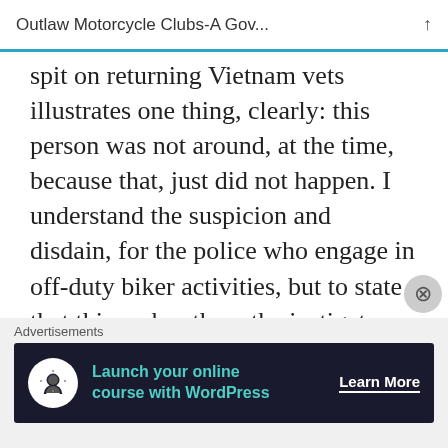Outlaw Motorcycle Clubs-A Gov...
spit on returning Vietnam vets illustrates one thing, clearly: this person was not around, at the time, because that, just did not happen. I understand the suspicion and disdain, for the police who engage in off-duty biker activities, but to state that this makes them the instigators of biker clashes and gang vs gang violence and bloodshed is a wilful disregard for, or ignorance of, real
[Figure (advertisement): WordPress advertisement banner: 'Launch your online course with WordPress' with Learn More CTA button on dark background]
Advertisements